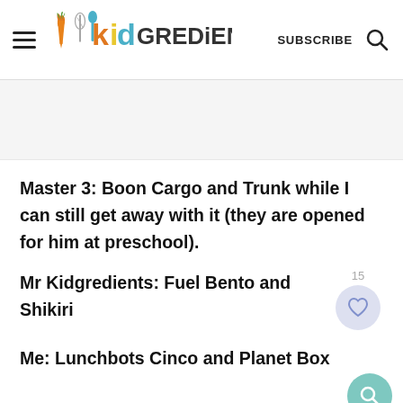kidgredients — SUBSCRIBE
Master 3: Boon Cargo and Trunk while I can still get away with it (they are opened for him at preschool).
Mr Kidgredients: Fuel Bento and Shikiri
Me: Lunchbots Cinco and Planet Box
The tables will give you the quick details,